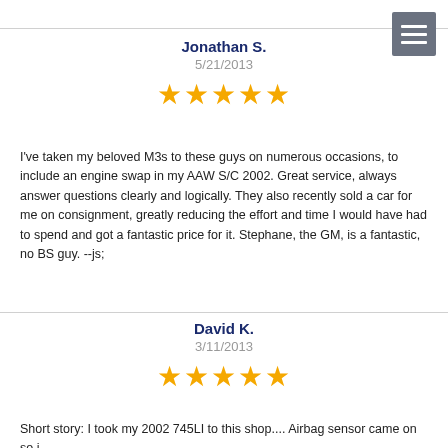Jonathan S.
5/21/2013
[Figure (other): Five gold stars rating]
I've taken my beloved M3s to these guys on numerous occasions, to include an engine swap in my AAW S/C 2002. Great service, always answer questions clearly and logically. They also recently sold a car for me on consignment, greatly reducing the effort and time I would have had to spend and got a fantastic price for it. Stephane, the GM, is a fantastic, no BS guy. --js;
David K.
3/11/2013
[Figure (other): Five gold stars rating]
Short story: I took my 2002 745LI to this shop.... Airbag sensor came on so i